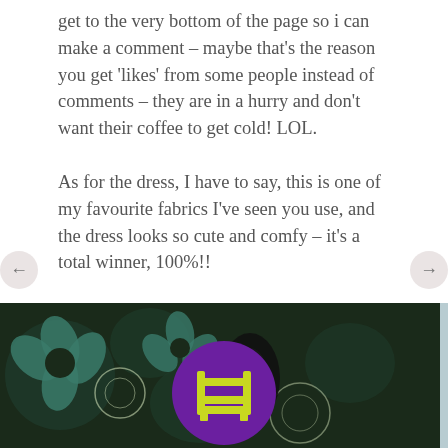get to the very bottom of the page so i can make a comment – maybe that's the reason you get 'likes' from some people instead of comments – they are in a hurry and don't want their coffee to get cold! LOL.

As for the dress, I have to say, this is one of my favourite fabrics I've seen you use, and the dress looks so cute and comfy – it's a total winner, 100%!!
★ Like
↪ REPLY
MARCH 8, 2014 AT 4:15 AM
[Figure (photo): Dark floral fabric pattern with teal/green flowers on dark background, partially visible. A circular avatar with purple background and yellow/green ladder icon is overlaid in the center. Light blue-grey background fills the right portion.]